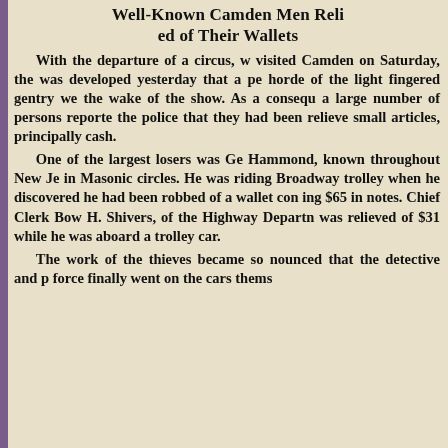Well-Known Camden Men Relieved of Their Wallets
With the departure of a circus, which visited Camden on Saturday, the fact was developed yesterday that a perfect horde of the light fingered gentry were in the wake of the show. As a consequence, a large number of persons reported to the police that they had been relieved of small articles, principally cash.

One of the largest losers was George Hammond, known throughout New Jersey in Masonic circles. He was riding a Broadway trolley when he discovered that he had been robbed of a wallet containing $65 in notes. Chief Clerk Bowe H. Shivers, of the Highway Department, was relieved of $31 while he was aboard a trolley car.

The work of the thieves became so pronounced that the detective and police force finally went on the cars themselves